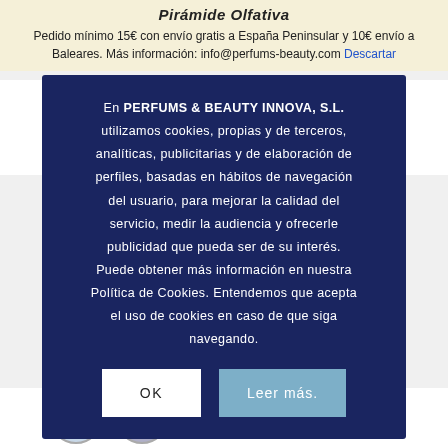Pirámide Olfativa
Pedido mínimo 15€ con envío gratis a España Peninsular y 10€ envío a Baleares. Más información: info@perfums-beauty.com Descartar
En PERFUMS & BEAUTY INNOVA, S.L. utilizamos cookies, propias y de terceros, analíticas, publicitarias y de elaboración de perfiles, basadas en hábitos de navegación del usuario, para mejorar la calidad del servicio, medir la audiencia y ofrecerle publicidad que pueda ser de su interés. Puede obtener más información en nuestra Política de Cookies. Entendemos que acepta el uso de cookies en caso de que siga navegando.
OK
Leer más.